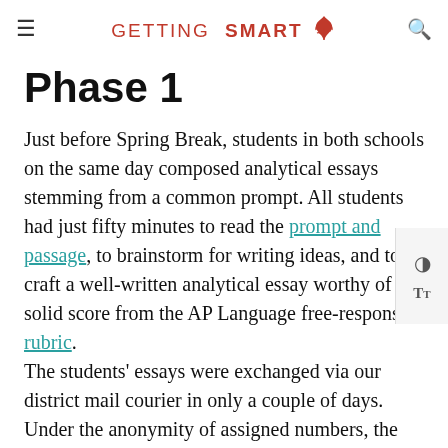GETTING SMART
Phase 1
Just before Spring Break, students in both schools on the same day composed analytical essays stemming from a common prompt. All students had just fifty minutes to read the prompt and passage, to brainstorm for writing ideas, and to craft a well-written analytical essay worthy of a solid score from the AP Language free-response rubric. The students' essays were exchanged via our district mail courier in only a couple of days. Under the anonymity of assigned numbers, the students were then asked to critique two-to-